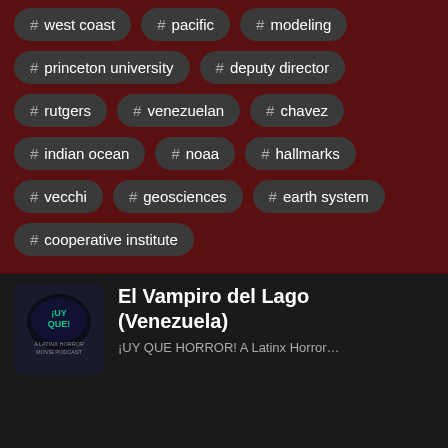# west coast
# pacific
# modeling
# princeton university
# deputy director
# rutgers
# venezuelan
# chavez
# indian ocean
# noaa
# hallmarks
# vecchi
# geosciences
# earth system
# cooperative institute
El Vampiro del Lago (Venezuela)
¡UY QUE HORROR! A Latinx Horror…